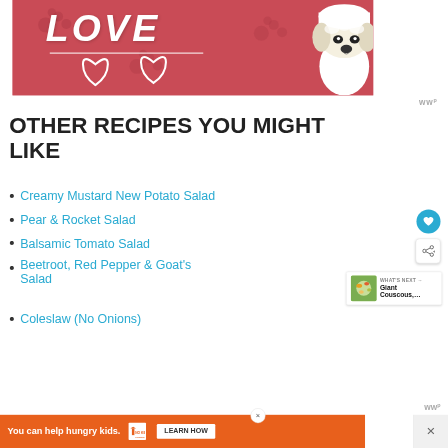[Figure (illustration): Banner advertisement with red/pink background showing the word LOVE in white bold italic text with heart outlines, and a white fluffy dog (Maltese/Bichon type) wearing a white head covering on the right side.]
OTHER RECIPES YOU MIGHT LIKE
Creamy Mustard New Potato Salad
Pear & Rocket Salad
Balsamic Tomato Salad
Beetroot, Red Pepper & Goat's Salad
Coleslaw (No Onions)
[Figure (screenshot): WHAT'S NEXT arrow label with thumbnail of Giant Couscous dish]
You can help hungry kids. NO KID HUNGRY LEARN HOW